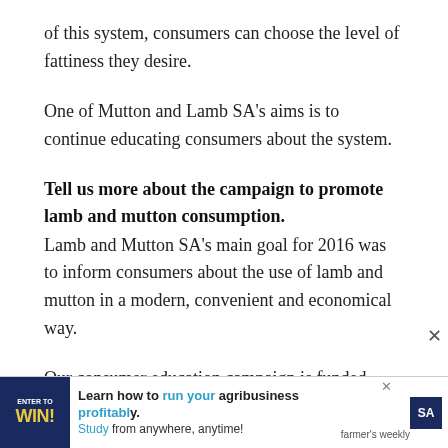of this system, consumers can choose the level of fattiness they desire.
One of Mutton and Lamb SA’s aims is to continue educating consumers about the system.
Tell us more about the campaign to promote lamb and mutton consumption.
Lamb and Mutton SA’s main goal for 2016 was to inform consumers about the use of lamb and mutton in a modern, convenient and economical way.
Our consumer education campaign is funded through statutory levies paid by South African mutton and lamb
[Figure (infographic): Advertisement banner: blue left panel with 'ENTER TO WIN!' text, main text 'Learn how to run your agribusiness profitably. Study from anywhere, anytime!' with Farmer's Weekly logo and SA logo on right. X close button in top right.]